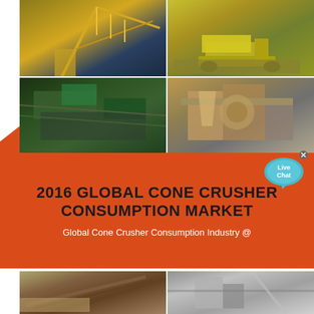[Figure (photo): Grid of four industrial cone crusher / mining equipment photos at top of page]
2016 GLOBAL CONE CRUSHER CONSUMPTION MARKET
Global Cone Crusher Consumption Industry @
[Figure (photo): Live Chat speech bubble widget in teal/cyan color with 'Live Chat' text]
[Figure (photo): Two large photos of cone crusher / quarry conveyor equipment in lower section]
[Figure (photo): Two photos at very bottom of page showing mining/quarry machinery]